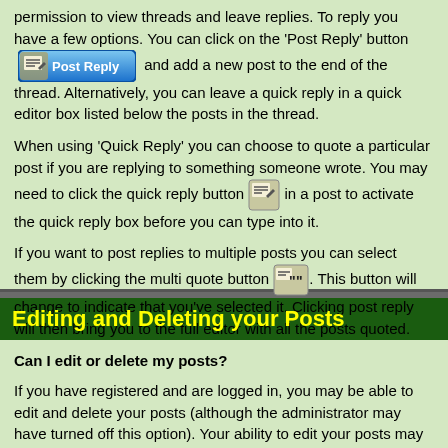permission to view threads and leave replies. To reply you have a few options. You can click on the 'Post Reply' button [Post Reply] and add a new post to the end of the thread. Alternatively, you can leave a quick reply in a quick editor box listed below the posts in the thread.
When using 'Quick Reply' you can choose to quote a particular post if you are replying to something someone wrote. You may need to click the quick reply button [icon] in a post to activate the quick reply box before you can type into it.
If you want to post replies to multiple posts you can select them by clicking the multi quote button [icon]. This button will change to indicate that you've selected it. Clicking post reply will then bring you to the full editor with all the posts quoted.
Editing and Deleting your Posts
Can I edit or delete my posts?
If you have registered and are logged in, you may be able to edit and delete your posts (although the administrator may have turned off this option). Your ability to edit your posts may be time-limited, depending on how the administrator has set up the forum.
To edit or delete your po... [ad] ...dit button by the